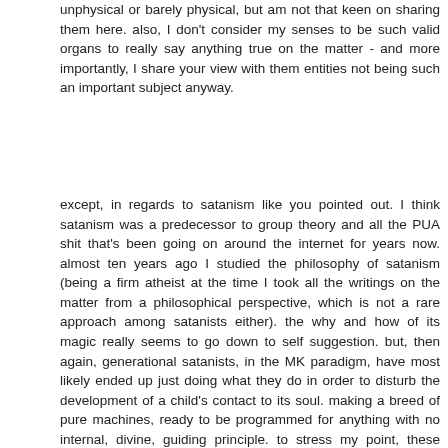unphysical or barely physical, but am not that keen on sharing them here. also, I don't consider my senses to be such valid organs to really say anything true on the matter - and more importantly, I share your view with them entities not being such an important subject anyway.
except, in regards to satanism like you pointed out. I think satanism was a predecessor to group theory and all the PUA shit that's been going on around the internet for years now. almost ten years ago I studied the philosophy of satanism (being a firm atheist at the time I took all the writings on the matter from a philosophical perspective, which is not a rare approach among satanists either). the why and how of its magic really seems to go down to self suggestion. but, then again, generational satanists, in the MK paradigm, have most likely ended up just doing what they do in order to disturb the development of a child's contact to its soul. making a breed of pure machines, ready to be programmed for anything with no internal, divine, guiding principle. to stress my point, these people use satanism as a method of traumatizing others, and for reliving their own trauma in order to cope with it (making something horrible normal in ones behavior makes it ok,